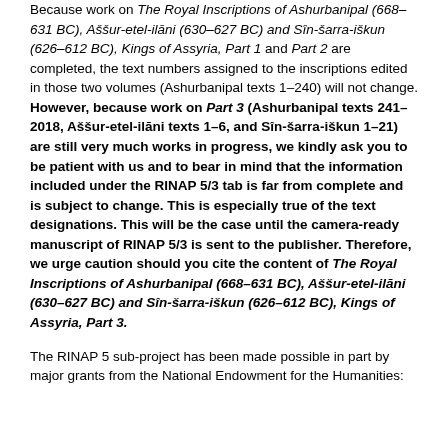Because work on The Royal Inscriptions of Ashurbanipal (668–631 BC), Aššur-etel-ilāni (630–627 BC) and Sîn-šarra-iškun (626–612 BC), Kings of Assyria, Part 1 and Part 2 are completed, the text numbers assigned to the inscriptions edited in those two volumes (Ashurbanipal texts 1–240) will not change. However, because work on Part 3 (Ashurbanipal texts 241–2018, Aššur-etel-ilāni texts 1–6, and Sîn-šarra-iškun 1–21) are still very much works in progress, we kindly ask you to be patient with us and to bear in mind that the information included under the RINAP 5/3 tab is far from complete and is subject to change. This is especially true of the text designations. This will be the case until the camera-ready manuscript of RINAP 5/3 is sent to the publisher. Therefore, we urge caution should you cite the content of The Royal Inscriptions of Ashurbanipal (668–631 BC), Aššur-etel-ilāni (630–627 BC) and Sîn-šarra-iškun (626–612 BC), Kings of Assyria, Part 3.
The RINAP 5 sub-project has been made possible in part by major grants from the National Endowment for the Humanities: